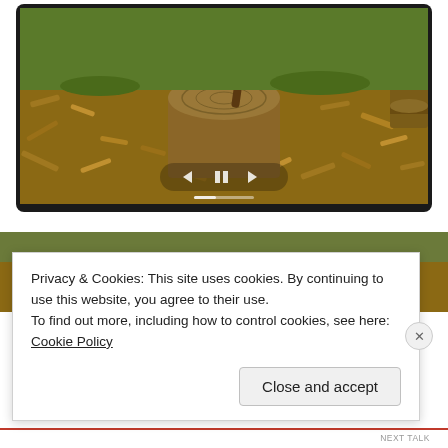[Figure (screenshot): Video player showing a wood chopping scene with an axe embedded in a tree stump surrounded by wood chips and sawdust on the ground. The video has playback controls (previous, pause, next) overlaid at the bottom center.]
[Figure (photo): Partial image strip showing a similar outdoor wood/nature scene, partially obscured by cookie consent banner.]
Privacy & Cookies: This site uses cookies. By continuing to use this website, you agree to their use.
To find out more, including how to control cookies, see here: Cookie Policy
Close and accept